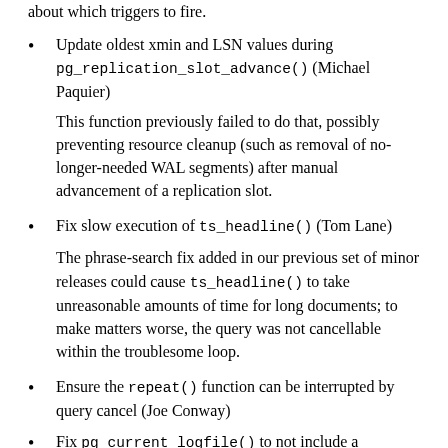about which triggers to fire.
Update oldest xmin and LSN values during pg_replication_slot_advance() (Michael Paquier)
This function previously failed to do that, possibly preventing resource cleanup (such as removal of no-longer-needed WAL segments) after manual advancement of a replication slot.
Fix slow execution of ts_headline() (Tom Lane)
The phrase-search fix added in our previous set of minor releases could cause ts_headline() to take unreasonable amounts of time for long documents; to make matters worse, the query was not cancellable within the troublesome loop.
Ensure the repeat() function can be interrupted by query cancel (Joe Conway)
Fix pg_current_logfile() to not include a